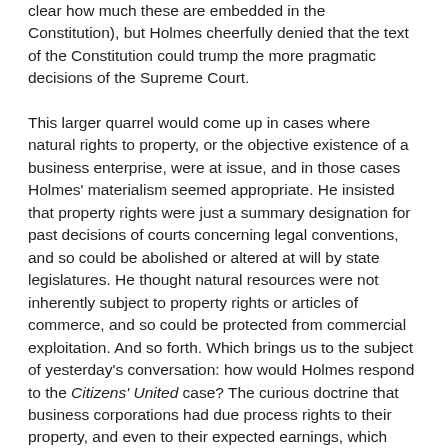clear how much these are embedded in the Constitution), but Holmes cheerfully denied that the text of the Constitution could trump the more pragmatic decisions of the Supreme Court.
This larger quarrel would come up in cases where natural rights to property, or the objective existence of a business enterprise, were at issue, and in those cases Holmes' materialism seemed appropriate. He insisted that property rights were just a summary designation for past decisions of courts concerning legal conventions, and so could be abolished or altered at will by state legislatures. He thought natural resources were not inherently subject to property rights or articles of commerce, and so could be protected from commercial exploitation. And so forth. Which brings us to the subject of yesterday's conversation: how would Holmes respond to the Citizens' United case? The curious doctrine that business corporations had due process rights to their property, and even to their expected earnings, which they could assert in federal court, as we know first appeared in the Santa Anna Railroad Case not long after the